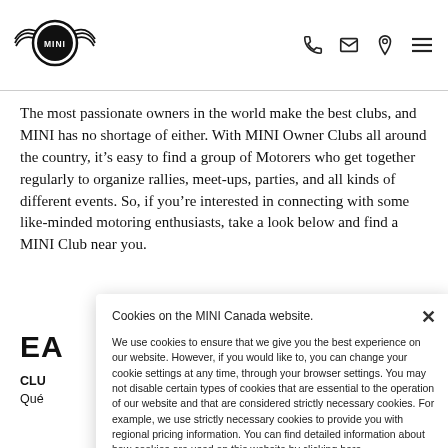[Figure (logo): MINI logo with wings — circular badge with MINI wordmark and wing decoration on each side]
[Figure (infographic): Navigation icons: phone, envelope/mail, location pin, hamburger menu]
The most passionate owners in the world make the best clubs, and MINI has no shortage of either. With MINI Owner Clubs all around the country, it’s easy to find a group of Motorers who get together regularly to organize rallies, meet-ups, parties, and all kinds of different events. So, if you’re interested in connecting with some like-minded motoring enthusiasts, take a look below and find a MINI Club near you.
EA
CLU
Qué
Cookies on the MINI Canada website.

We use cookies to ensure that we give you the best experience on our website. However, if you would like to, you can change your cookie settings at any time, through your browser settings. You may not disable certain types of cookies that are essential to the operation of our website and that are considered strictly necessary cookies. For example, we use strictly necessary cookies to provide you with regional pricing information. You can find detailed information about how cookies are used on this website by clicking here.